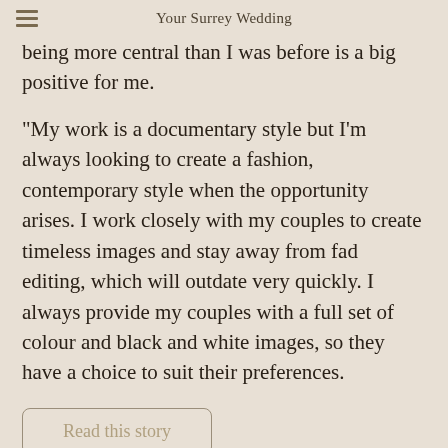Your Surrey Wedding
being more central than I was before is a big positive for me.
"My work is a documentary style but I'm always looking to create a fashion, contemporary style when the opportunity arises. I work closely with my couples to create timeless images and stay away from fad editing, which will outdate very quickly. I always provide my couples with a full set of colour and black and white images, so they have a choice to suit their preferences.
Read this story
Posted: 8 August 2022